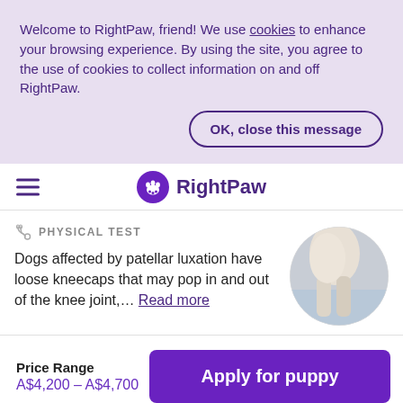Welcome to RightPaw, friend! We use cookies to enhance your browsing experience. By using the site, you agree to the use of cookies to collect information on and off RightPaw.
OK, close this message
[Figure (logo): RightPaw logo with paw print icon in purple circle and bold purple text 'RightPaw']
PHYSICAL TEST
Dogs affected by patellar luxation have loose kneecaps that may pop in and out of the knee joint,… Read more
[Figure (photo): Circular cropped photo of white/cream dog's hind legs, standing near water]
Price Range
A$4,200 – A$4,700
Apply for puppy